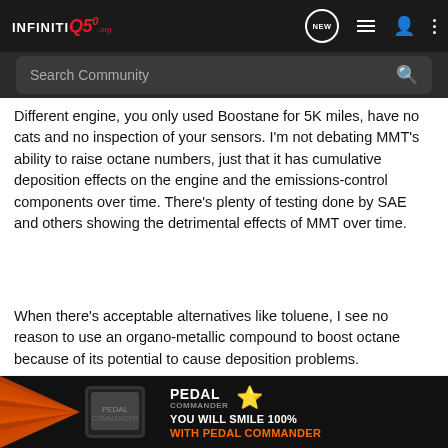INFINITI Q50.org
Different engine, you only used Boostane for 5K miles, have no cats and no inspection of your sensors. I'm not debating MMT's ability to raise octane numbers, just that it has cumulative deposition effects on the engine and the emissions-control components over time. There's plenty of testing done by SAE and others showing the detrimental effects of MMT over time.
When there's acceptable alternatives like toluene, I see no reason to use an organo-metallic compound to boost octane because of its potential to cause deposition problems.
2018 Q50 Red Sport AWD - Graphite Shadow - Essential, Sensory
[Figure (photo): Pedal Commander advertisement banner with orange and black design: YOU WILL SMILE 100% WITH PEDAL COMMANDER]